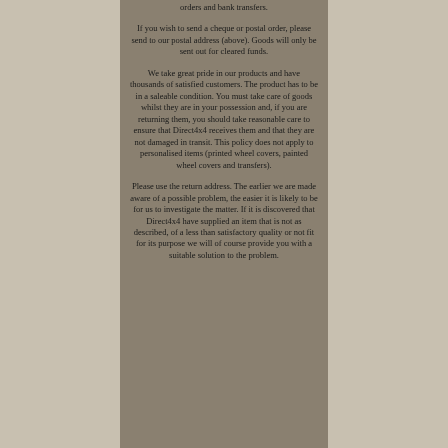orders and bank transfers.
If you wish to send a cheque or postal order, please send to our postal address (above). Goods will only be sent out for cleared funds.
We take great pride in our products and have thousands of satisfied customers. The product has to be in a saleable condition. You must take care of goods whilst they are in your possession and, if you are returning them, you should take reasonable care to ensure that Direct4x4 receives them and that they are not damaged in transit. This policy does not apply to personalised items (printed wheel covers, painted wheel covers and transfers).
Please use the return address. The earlier we are made aware of a possible problem, the easier it is likely to be for us to investigate the matter. If it is discovered that Direct4x4 have supplied an item that is not as described, of a less than satisfactory quality or not fit for its purpose we will of course provide you with a suitable solution to the problem.